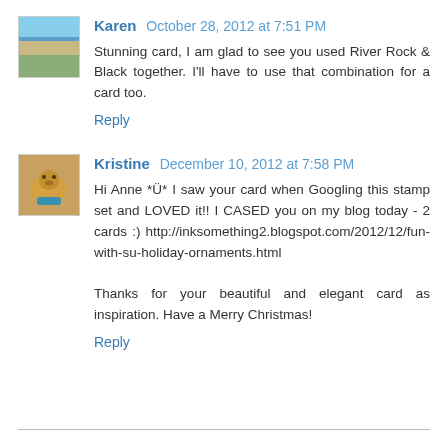Karen October 28, 2012 at 7:51 PM
Stunning card, I am glad to see you used River Rock & Black together. I'll have to use that combination for a card too.
Reply
Kristine December 10, 2012 at 7:58 PM
Hi Anne *Ü* I saw your card when Googling this stamp set and LOVED it!! I CASED you on my blog today - 2 cards :) http://inksomething2.blogspot.com/2012/12/fun-with-su-holiday-ornaments.html

Thanks for your beautiful and elegant card as inspiration. Have a Merry Christmas!
Reply